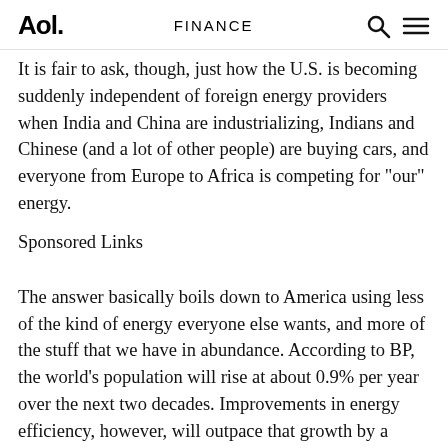Aol. | FINANCE
It is fair to ask, though, just how the U.S. is becoming suddenly independent of foreign energy providers when India and China are industrializing, Indians and Chinese (and a lot of other people) are buying cars, and everyone from Europe to Africa is competing for "our" energy.
Sponsored Links
The answer basically boils down to America using less of the kind of energy everyone else wants, and more of the stuff that we have in abundance. According to BP, the world's population will rise at about 0.9% per year over the next two decades. Improvements in energy efficiency, however, will outpace that growth by a factor of two, rising 2% per annum. Result: Overall "energy consumption per capita" rises slower than population